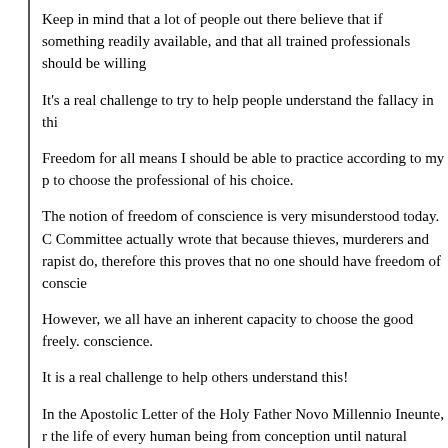Keep in mind that a lot of people out there believe that if something readily available, and that all trained professionals should be willing…
It's a real challenge to try to help people understand the fallacy in thi…
Freedom for all means I should be able to practice according to my p… to choose the professional of his choice.
The notion of freedom of conscience is very misunderstood today. C… Committee actually wrote that because thieves, murderers and rapist… do, therefore this proves that no one should have freedom of conscie…
However, we all have an inherent capacity to choose the good freely… conscience.
It is a real challenge to help others understand this!
In the Apostolic Letter of the Holy Father Novo Millennio Ineunte, r… the life of every human being from conception until natural death). H…
For Christian witness to be effective, especially in these delic… important that special efforts be made to explain properly the… stressing that it is not a case of imposing on non-believers a v… values rooted in the very nature of the human person.
In other words, respect for human life is not based on faith, but on na…